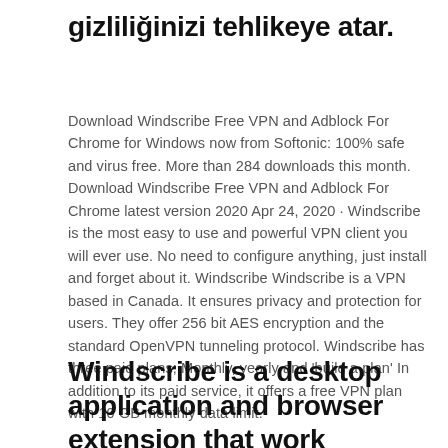gizliliğinizi tehlikeye atar.
Download Windscribe Free VPN and Adblock For Chrome for Windows now from Softonic: 100% safe and virus free. More than 284 downloads this month. Download Windscribe Free VPN and Adblock For Chrome latest version 2020 Apr 24, 2020 · Windscribe is the most easy to use and powerful VPN client you will ever use. No need to configure anything, just install and forget about it. Windscribe Windscribe is a VPN based in Canada. It ensures privacy and protection for users. They offer 256 bit AES encryption and the standard OpenVPN tunneling protocol. Windscribe has three paid plans; Monthly, yearly and 'build a plan' In addition to its paid service, it offers a free VPN plan with 10 GB monthly data limit.
Windscribe is a desktop application and browser extension that work together to block ads and trackers, restore access to